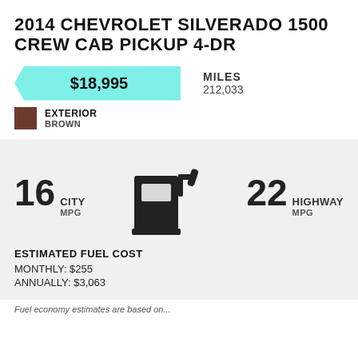2014 CHEVROLET SILVERADO 1500 CREW CAB PICKUP 4-DR
$18,995
MILES 212,033
EXTERIOR BROWN
[Figure (infographic): Fuel pump icon silhouette in black]
16 CITY MPG  22 HIGHWAY MPG
ESTIMATED FUEL COST
MONTHLY: $255
ANNUALLY: $3,063
Fuel economy estimates based on...